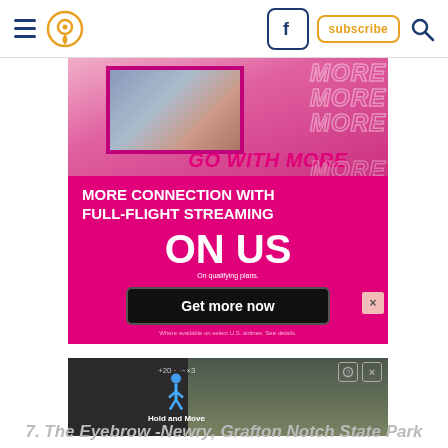Navigation bar with hamburger menu, location pin icon, Facebook button, subscribe button, search icon
[Figure (photo): T-Mobile advertisement: 'GO WITH MORE' / 'MORE CONNECTION WITH FULL-FLIGHT STREAMING ON US' / 'Get more now' button. Pink and magenta background with person using phone in top image box and repeated 'MORE' text.]
[Figure (screenshot): Small ad strip showing 'Hold and Move' with pedestrian icon over a dark road scene image]
7. The Eyebrow -Newry, Grafton Notch State Park